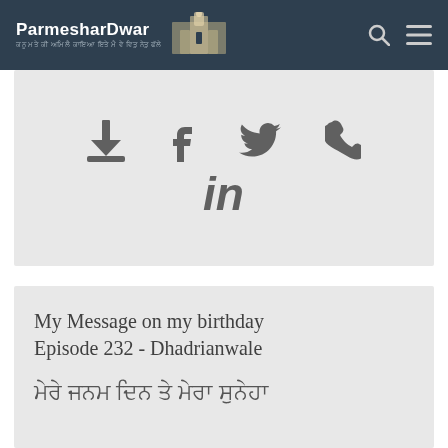ParmesharDwar
[Figure (screenshot): Social share icons: download, Facebook, Twitter, phone, LinkedIn]
My Message on my birthday Episode 232 - Dhadrianwale
ਮੇਰੇ ਜਨਮ ਦਿਨ ਤੇ ਮੇਰਾ ਸੁਨੇਹਾ